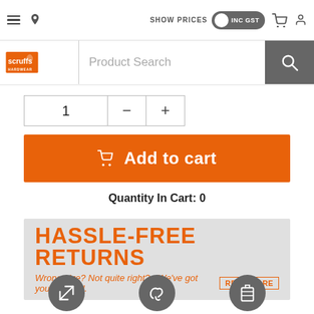SHOW PRICES INC GST
[Figure (screenshot): Scruffs Hardwear logo and product search bar with search button]
1
Add to cart
Quantity In Cart: 0
[Figure (infographic): HASSLE-FREE RETURNS banner. Wrong size? Not quite right?...We've got you covered. READ MORE]
[Figure (illustration): Three dark grey circular icons: resize/scale arrows, muscle/strength, and storage/luggage]